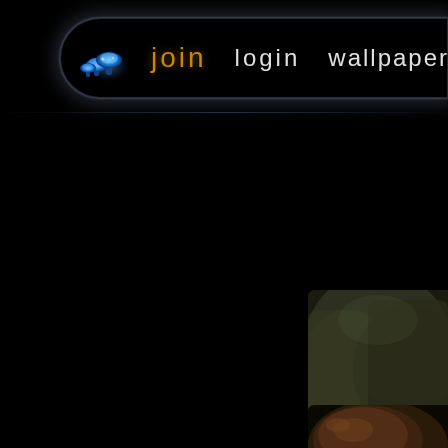[Figure (screenshot): Website navigation bar on black background with mushroom logo, join (gold), login, wallpapers▼, mem... links in white]
[Figure (photo): Partial thumbnail of an aquarium scene with green plants, red flowers and natural rocky background]
[Figure (photo): Partial thumbnail of a mushroom or organic nature scene at bottom right]